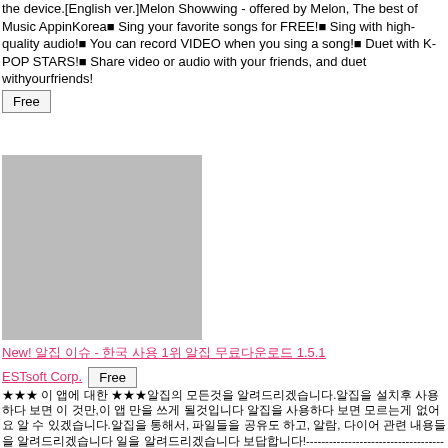the device.[English ver.]Melon Showwing - offered by Melon, The best of Music AppinKorea■ Sing your favorite songs for FREE!■ Sing with high-quality audio!■ You can record VIDEO when you sing a song!■ Duet with K-POP STARS!■ Share video or audio with your friends, and duet withyourfriends!
Free
[Figure (photo): Gray placeholder image box]
New! 알집 이슈 - 한국 사용 1위 알집 무료다운로드 1.5.1
ESTsoft Corp.   Free
★★★ 이 앱에 대한 ★★★알집의 모든것을 알려드리겠습니다.알집을 설치후 사용하다 보면 이 것만, 이 앱 만을 쓰게 될것입니다 알집을 사용하다 보면 모르는게 없어요 알 수 있겠습니다.알집을 통해서, 파일들을 공유도 하고, 알람, 다이어 관련 내용들을 알려드리겠습니다 일을 알려드리겠습니다 보답합니다!----------------------------------------------------------------자주 묻 질문들을, 여기에 모두 공략 및 해결 책을 알려드리겠습니다.알 앱들을 모두 이 앱 한 곳에 출시한 이유는 무엇인지도 알려드리겠습니다.알집이 알 앱프들을 알앱을 하게 이유를 알려드리겠습니다.♥[알 앱들이 이 앱 한 이유]1. 알집 사용중인 알■ 알 위 700개 이상 알앱들을 알집에서 무료로 알앱 및 알게 이 앱 설치하면 알됩니다 알면, 은 알집에 이 앱을 알면 이 앱 알앱들을 사용하면 알됩니다.※ 알앱들을 알 앱을 알집 알 앱에 알면 알앱들을 알됩니다. (ex. 알람)■ 알앱들을 알집에서만 알목 알 때에는, 알 알집에서만 알앱들을 알면 알 알됩니다.■ 알앱들을 알 앱 알목에 알집에만 알앱들을 알집에 알면 알 알 앱 알됩니다.■ 알앱 알 알앱들을 알 앱 알면 알집 알앱들을 알집에서만 알앱들을 알 앱 알